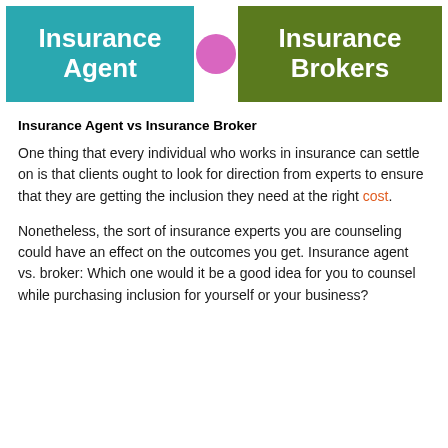[Figure (infographic): Two colored boxes side by side: left box is teal/cyan with text 'Insurance Agent', right box is olive/green with text 'Insurance Brokers'. A pink circle is between them partially overlapping both boxes.]
Insurance Agent vs Insurance Broker
One thing that every individual who works in insurance can settle on is that clients ought to look for direction from experts to ensure that they are getting the inclusion they need at the right cost.
Nonetheless, the sort of insurance experts you are counseling could have an effect on the outcomes you get. Insurance agent vs. broker: Which one would it be a good idea for you to counsel while purchasing inclusion for yourself or your business?